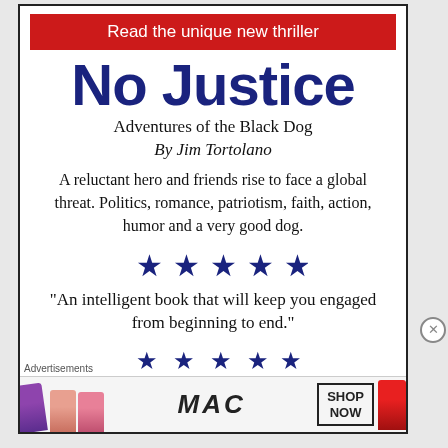Read the unique new thriller
No Justice
Adventures of the Black Dog
By Jim Tortolano
A reluctant hero and friends rise to face a global threat. Politics, romance, patriotism, faith, action, humor and a very good dog.
[Figure (illustration): Five filled blue star symbols in a row]
“An intelligent book that will keep you engaged from beginning to end.”
[Figure (illustration): Five filled blue star symbols in a second row]
Advertisements
[Figure (illustration): MAC cosmetics advertisement banner with lipsticks and SHOP NOW button]